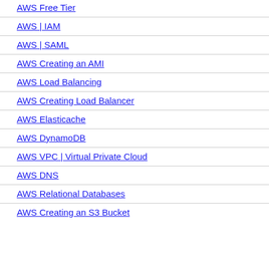AWS Free Tier
AWS | IAM
AWS | SAML
AWS Creating an AMI
AWS Load Balancing
AWS Creating Load Balancer
AWS Elasticache
AWS DynamoDB
AWS VPC | Virtual Private Cloud
AWS DNS
AWS Relational Databases
AWS Creating an S3 Bucket